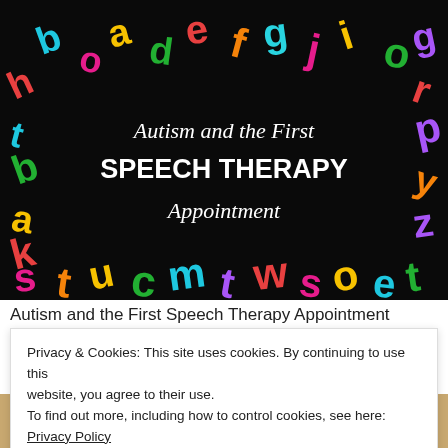[Figure (photo): Dark background with colorful foam letters arranged around the edges. Center text reads 'Autism and the First SPEECH THERAPY Appointment' in white script and bold fonts.]
Autism and the First Speech Therapy Appointment
Privacy & Cookies: This site uses cookies. By continuing to use this website, you agree to their use.
To find out more, including how to control cookies, see here: Privacy Policy
Close and accept
[Figure (photo): Partial photo visible at the bottom of the page, showing what appears to be a calendar or similar item.]